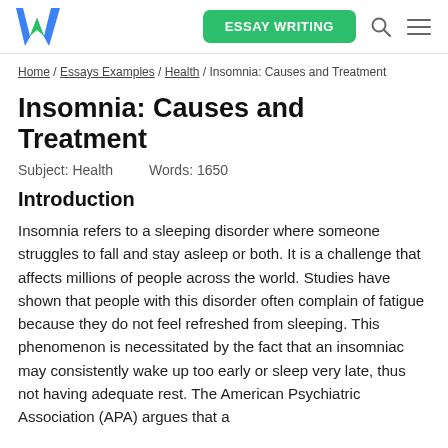W | ESSAY WRITING
Home / Essays Examples / Health / Insomnia: Causes and Treatment
Insomnia: Causes and Treatment
Subject: Health    Words: 1650
Introduction
Insomnia refers to a sleeping disorder where someone struggles to fall and stay asleep or both. It is a challenge that affects millions of people across the world. Studies have shown that people with this disorder often complain of fatigue because they do not feel refreshed from sleeping. This phenomenon is necessitated by the fact that an insomniac may consistently wake up too early or sleep very late, thus not having adequate rest. The American Psychiatric Association (APA) argues that a